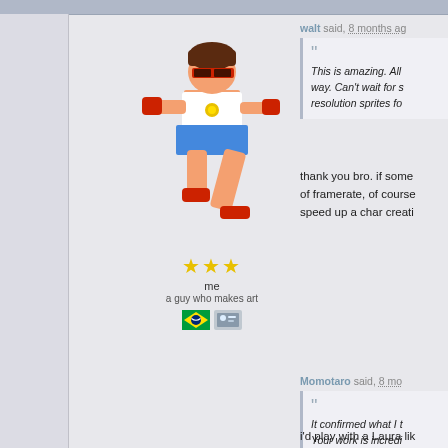[Figure (illustration): Pixel art character sprite of a female Street Fighter-style fighter in blue skirt and white top, mid-kick pose, with red gloves and shoes]
★★★
me
a guy who makes art
[Figure (illustration): Brazilian flag icon and a badge/avatar icon]
walt said, 8 months ago
This is amazing. All the way. Can't wait for s... resolution sprites fo...
thank you bro. if some... of framerate, of course... speed up a char creati...
Momotaro said, 8 mo...
It confirmed what I t... Your work is incredi...
I sincerely hope the... character.
i'd play with a Laura lik... thank you very much...